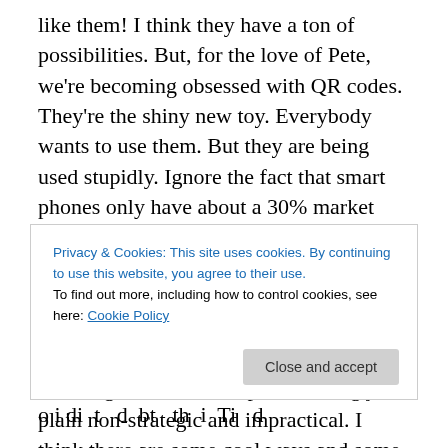like them! I think they have a ton of possibilities. But, for the love of Pete, we're becoming obsessed with QR codes. They're the shiny new toy. Everybody wants to use them. But they are being used stupidly. Ignore the fact that smart phones only have about a 30% market penetration in the US. Ignore the fact that only like 10% of internet traffic comes from mobile phones. Ignore the fact that the people that do have smart phones do not all have scanners nor do they know how to get/use one. People are being just plain non-strategic and impractical. I think there are some cool ways and some lame ways to use QR
Privacy & Cookies: This site uses cookies. By continuing to use this website, you agree to their use.
To find out more, including how to control cookies, see here: Cookie Policy
o i di t d bt th i Ti d